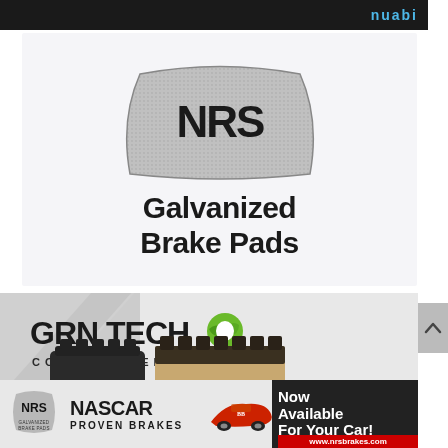[Figure (logo): Dark top banner with 'nuabi' text in blue]
[Figure (logo): NRS Galvanized Brake Pads logo on light gray background — metallic brake pad shape with NRS lettering, text 'Galvanized Brake Pads']
[Figure (logo): GRN TECH Copper Free logo with green leaf icon and brake pad product image on gray chevron background]
[Figure (logo): Bottom NASCAR banner: NRS small logo, NASCAR PROVEN BRAKES text, racing car image, 'Now Available For Your Car!' and www.nrsbrakes.com URL]